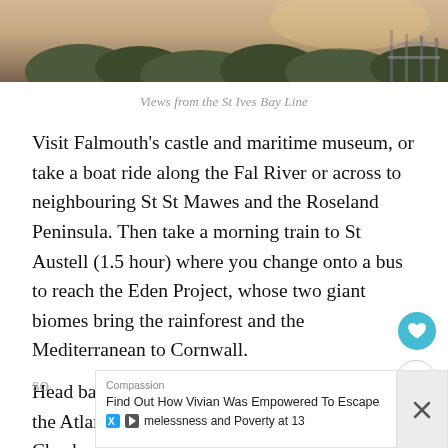[Figure (photo): Landscape photo showing treetops and vegetation against a hazy/golden sky, viewed from the St Ives Bay Line train]
Views from the St Ives Bay Line
Visit Falmouth’s castle and maritime museum, or take a boat ride along the Fal River or across to neighbouring St St Mawes and the Roseland Peninsula. Then take a morning train to St Austell (1.5 hour) where you change onto a bus to reach the Eden Project, whose two giant biomes bring the rainforest and the Mediterranean to Cornwall.
Head back to St Austell to catch the train along the Atlantic Coast Line to Newquay (2 hours). Check out
[Figure (screenshot): Advertisement overlay: Compassion - Find Out How Vivian Was Empowered To Escape Homelessness and Poverty at 13]